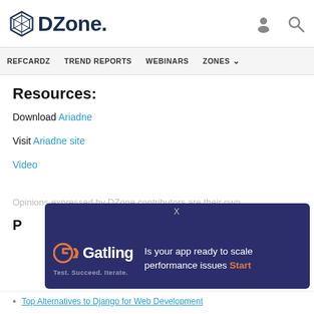DZone. [navigation: REFCARDZ, TREND REPORTS, WEBINARS, ZONES]
Resources:
Download Ariadne
Visit Ariadne site
Video
Opinions expressed by DZone contributors are their own.
P[artial — cut off]
[Figure (screenshot): Gatling advertisement banner: dark blue/purple background. Shows Gatling logo with orange icon on left, tagline 'Test. Succeed. Iterate.' and text 'Is your app ready to scale performance issues Start' with 'Start' in orange. An X close button at top center.]
Top Alternatives to Django for Web Development